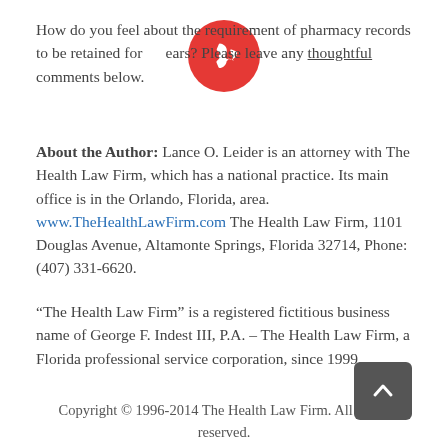How do you feel about the requirement of pharmacy records to be retained for 8 years? Please leave any thoughtful comments below.
About the Author: Lance O. Leider is an attorney with The Health Law Firm, which has a national practice. Its main office is in the Orlando, Florida, area. www.TheHealthLawFirm.com The Health Law Firm, 1101 Douglas Avenue, Altamonte Springs, Florida 32714, Phone: (407) 331-6620.
“The Health Law Firm” is a registered fictitious business name of George F. Indest III, P.A. – The Health Law Firm, a Florida professional service corporation, since 1999.
Copyright © 1996-2014 The Health Law Firm. All rights reserved.